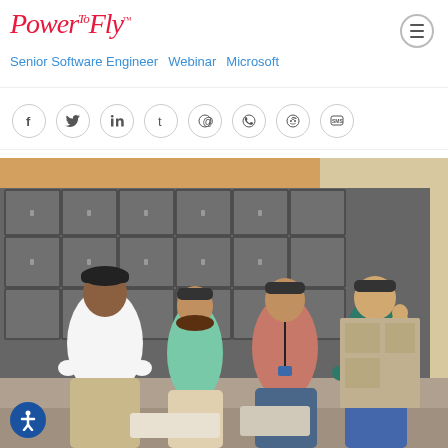PowerToFly™
Senior Software Engineer   Webinar   Microsoft
[Figure (screenshot): Social sharing icons: Facebook, Twitter, LinkedIn, Tumblr, Pinterest, WhatsApp, Reddit, SMS]
[Figure (photo): Four people wearing branded caps standing in front of metal lockers in a warehouse or fulfillment center. One man in a white shirt, and three women wearing aqua, pink/mauve, and teal tops.]
[Figure (other): Blue accessibility icon button in the bottom left corner]